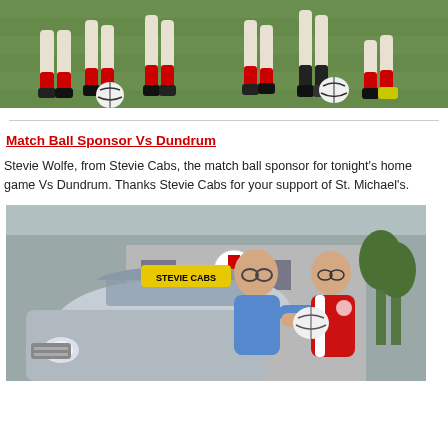[Figure (photo): Two side-by-side sports action photos showing players' legs and a Gaelic football on a grass pitch. Players wearing red and black socks.]
Match Ball Sponsor Vs Dundrum
Stevie Wolfe, from Stevie Cabs, the match ball sponsor for tonight's home game Vs Dundrum. Thanks Stevie Cabs for your support of St. Michael's.
[Figure (photo): Photo of two men standing in front of a silver car with a 'Stevie Cabs' taxi sign on the roof, in front of a GAA clubhouse with a red and white cross crest. One man in blue shirt, one in red GAA jersey holding a Gaelic football.]